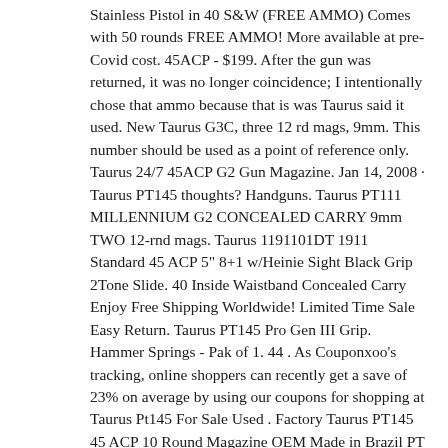Stainless Pistol in 40 S&W (FREE AMMO) Comes with 50 rounds FREE AMMO! More available at pre- Covid cost. 45ACP - $199. After the gun was returned, it was no longer coincidence; I intentionally chose that ammo because that is was Taurus said it used. New Taurus G3C, three 12 rd mags, 9mm. This number should be used as a point of reference only. Taurus 24/7 45ACP G2 Gun Magazine. Jan 14, 2008 · Taurus PT145 thoughts? Handguns. Taurus PT111 MILLENNIUM G2 CONCEALED CARRY 9mm TWO 12-rnd mags. Taurus 1191101DT 1911 Standard 45 ACP 5" 8+1 w/Heinie Sight Black Grip 2Tone Slide. 40 Inside Waistband Concealed Carry Enjoy Free Shipping Worldwide! Limited Time Sale Easy Return. Taurus PT145 Pro Gen III Grip. Hammer Springs - Pak of 1. 44 . As Couponxoo's tracking, online shoppers can recently get a save of 23% on average by using our coupons for shopping at Taurus Pt145 For Sale Used . Factory Taurus PT145 45 ACP 10 Round Magazine OEM Made in Brazil PT 145. 22 LR Semiautomatic Rimfire Pistol. It doesn't carry as comfortably as the Taurus because it has a longer barrel. 95. Also includes […] Facebook. According to Seller, "Less than 600 Rounds through it, could pass as brand new. Buy Used Taurus PT-145 Pro Millennium . Barrel PT92 Blue; Barrel PT92 Compact; Barrel PT92